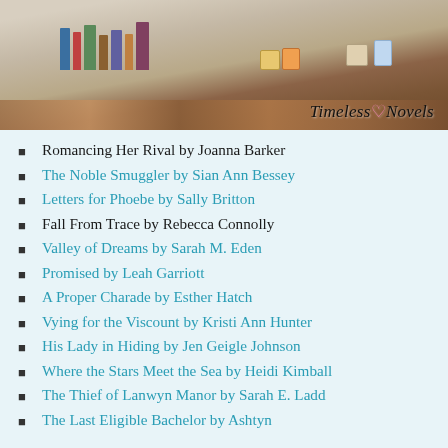[Figure (photo): Photo of books on a wooden floor/shelf with the Timeless Novels logo watermark in the bottom right corner]
Romancing Her Rival by Joanna Barker
The Noble Smuggler by Sian Ann Bessey
Letters for Phoebe by Sally Britton
Fall From Trace by Rebecca Connolly
Valley of Dreams by Sarah M. Eden
Promised by Leah Garriott
A Proper Charade by Esther Hatch
Vying for the Viscount by Kristi Ann Hunter
His Lady in Hiding by Jen Geigle Johnson
Where the Stars Meet the Sea by Heidi Kimball
The Thief of Lanwyn Manor by Sarah E. Ladd
The Last Eligible Bachelor by Ashtyn